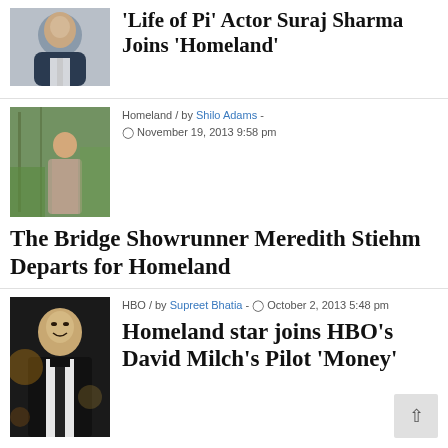[Figure (photo): Young South Asian man in suit, smiling]
'Life of Pi' Actor Suraj Sharma Joins 'Homeland'
[Figure (photo): Woman standing near window in green outdoor setting]
Homeland / by Shilo Adams - November 19, 2013 9:58 pm
The Bridge Showrunner Meredith Stiehm Departs for Homeland
[Figure (photo): Black man in suit and tie smiling at formal event]
HBO / by Supreet Bhatia - October 2, 2013 5:48 pm
Homeland star joins HBO's David Milch's Pilot 'Money'